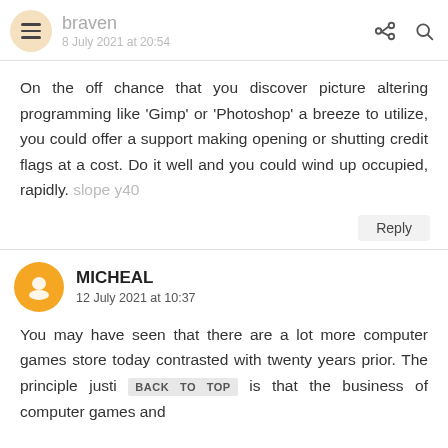braven · 8 July 2021 at 20:54
On the off chance that you discover picture altering programming like 'Gimp' or 'Photoshop' a breeze to utilize, you could offer a support making opening or shutting credit flags at a cost. Do it well and you could wind up occupied, rapidly. slope y40
Reply
MICHEAL
12 July 2021 at 10:37
You may have seen that there are a lot more computer games store today contrasted with twenty years prior. The principle justi BACK TO TOP is that the business of computer games and